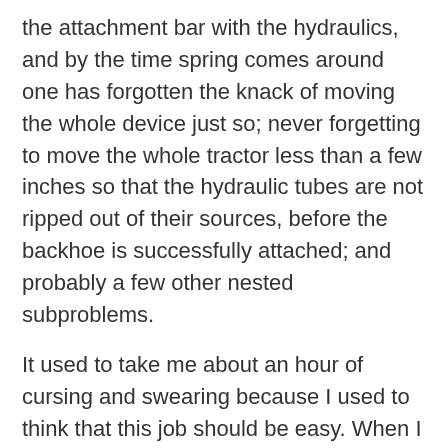the attachment bar with the hydraulics, and by the time spring comes around one has forgotten the knack of moving the whole device just so; never forgetting to move the whole tractor less than a few inches so that the hydraulic tubes are not ripped out of their sources, before the backhoe is successfully attached; and probably a few other nested subproblems.
It used to take me about an hour of cursing and swearing because I used to think that this job should be easy. When I at last accepted that the job would take forty five minutes even if everything went smoothly, frustration disappeared. I have not cursed on that job for over five years. It takes the time it takes.
I have been watching a lot of Andrew Camarata